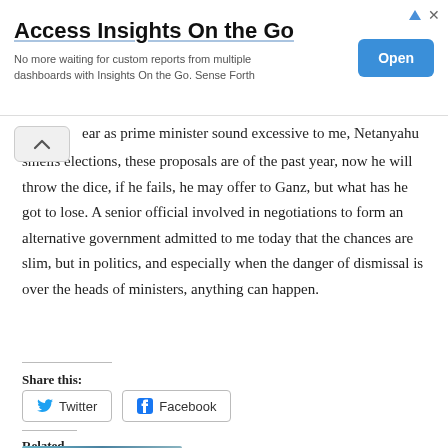[Figure (other): Advertisement banner: 'Access Insights On the Go' with subtitle 'No more waiting for custom reports from multiple dashboards with Insights On the Go. Sense Forth' and a blue 'Open' button on the right.]
ear as prime minister sound excessive to me, Netanyahu smells elections, these proposals are of the past year, now he will throw the dice, if he fails, he may offer to Ganz, but what has he got to lose. A senior official involved in negotiations to form an alternative government admitted to me today that the chances are slim, but in politics, and especially when the danger of dismissal is over the heads of ministers, anything can happen.
Share this:
Twitter  Facebook
Related